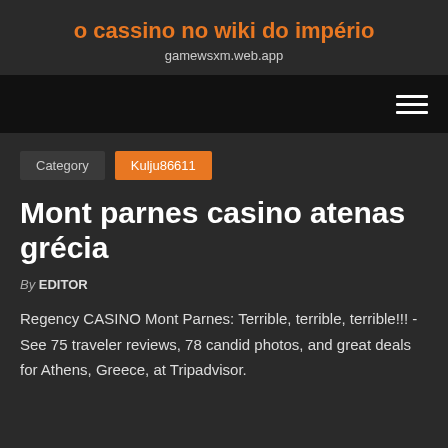o cassino no wiki do império
gamewsxm.web.app
Category   Kulju86611
Mont parnes casino atenas grécia
By EDITOR
Regency CASINO Mont Parnes: Terrible, terrible, terrible!!! - See 75 traveler reviews, 78 candid photos, and great deals for Athens, Greece, at Tripadvisor.